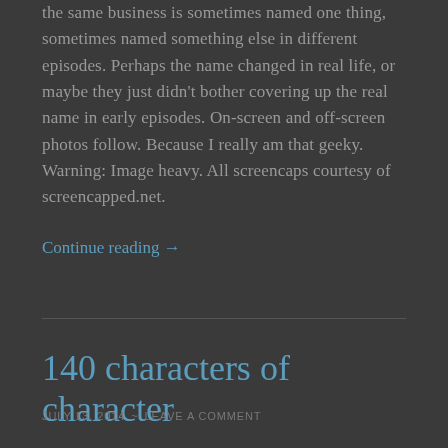the same business is sometimes named one thing, sometimes named something else in different episodes. Perhaps the name changed in real life, or maybe they just didn't bother covering up the real name in early episodes. On-screen and off-screen photos follow. Because I really am that geeky. Warning: Image heavy. All screencaps courtesy of screencapped.net.
Continue reading →
140 characters of character
JULY 13, 2014 ~ LEAVE A COMMENT